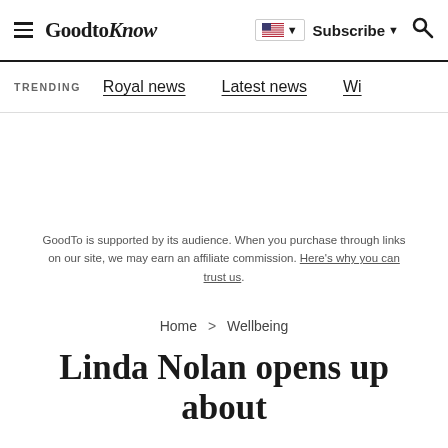GoodtoKnow | Subscribe | Search
TRENDING  Royal news  Latest news  Wi...
GoodTo is supported by its audience. When you purchase through links on our site, we may earn an affiliate commission. Here's why you can trust us.
Home > Wellbeing
Linda Nolan opens up about